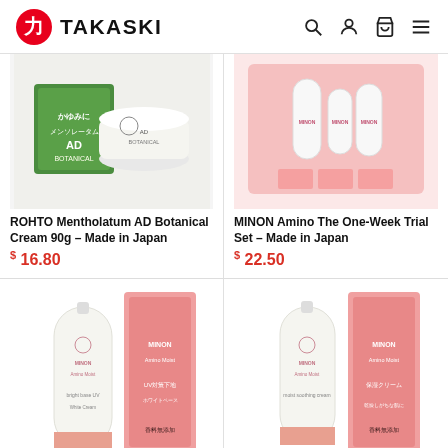TAKASKI
[Figure (photo): ROHTO Mentholatum AD Botanical Cream 90g product photo - green cream jar with Japanese text]
ROHTO Mentholatum AD Botanical Cream 90g – Made in Japan
$ 16.80
[Figure (photo): MINON Amino The One-Week Trial Set product photo - pink skincare set with multiple bottles]
MINON Amino The One-Week Trial Set – Made in Japan
$ 22.50
[Figure (photo): MINON Amino Moist sunscreen/base UV product tube with pink box packaging]
[Figure (photo): MINON Amino Moist cream product tube with pink box packaging]